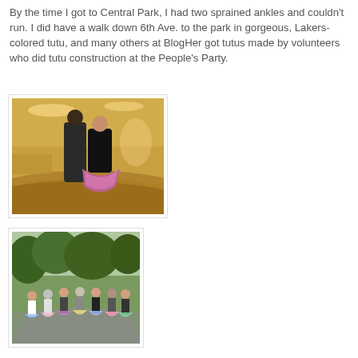By the time I got to Central Park, I had two sprained ankles and couldn't run. I did have a walk down 6th Ave. to the park in gorgeous, Lakers-colored tutu, and many others at BlogHer got tutus made by volunteers who did tutu construction at the People's Party.
[Figure (photo): Two people posing in a hotel lobby, one wearing a colorful tutu, warm golden-toned lighting]
[Figure (photo): Group of people walking in a park path, many wearing tutus, trees in background]